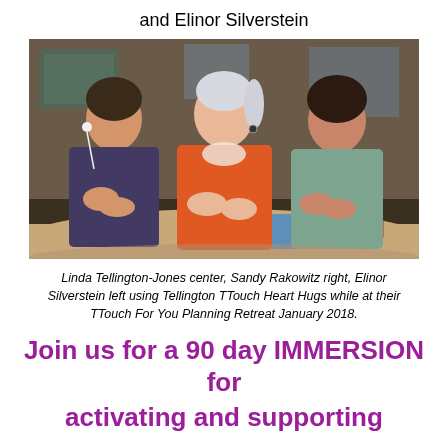and Elinor Silverstein
[Figure (photo): Three women sitting at a table laughing and talking. Linda Tellington-Jones is in the center wearing a coral/red top, Sandy Rakowitz is on the right, and Elinor Silverstein is on the left. They appear to be using Tellington TTouch Heart Hugs at a planning retreat.]
Linda Tellington-Jones center, Sandy Rakowitz right, Elinor Silverstein left using Tellington TTouch Heart Hugs while at their TTouch For You Planning Retreat January 2018.
Join us for a 90 day IMMERSION for activating and supporting